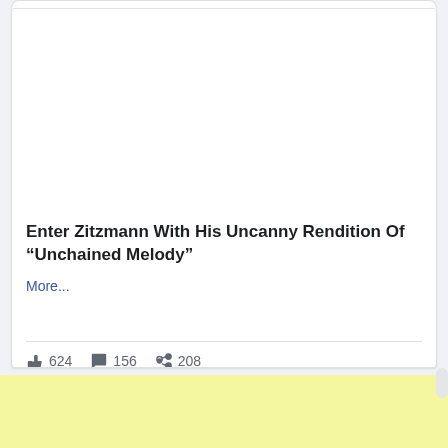Enter Zitzmann With His Uncanny Rendition Of “Unchained Melody”
More...
624  156  208